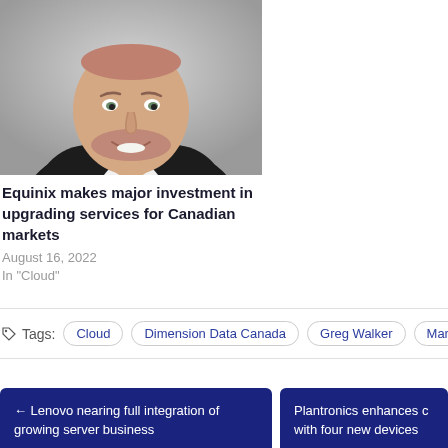[Figure (photo): Headshot photo of a bald smiling man in a dark jacket and white shirt, grey background]
Equinix makes major investment in upgrading services for Canadian markets
August 16, 2022
In "Cloud"
Tags: Cloud  Dimension Data Canada  Greg Walker  Managed Services
← Lenovo nearing full integration of growing server business
Plantronics enhances c with four new devices